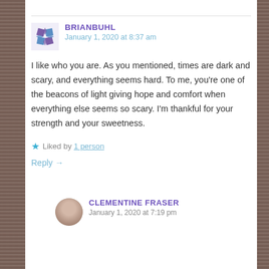BRIANBUHL
January 1, 2020 at 8:37 am
I like who you are. As you mentioned, times are dark and scary, and everything seems hard. To me, you’re one of the beacons of light giving hope and comfort when everything else seems so scary. I’m thankful for your strength and your sweetness.
Liked by 1 person
Reply →
CLEMENTINE FRASER
January 1, 2020 at 7:19 pm